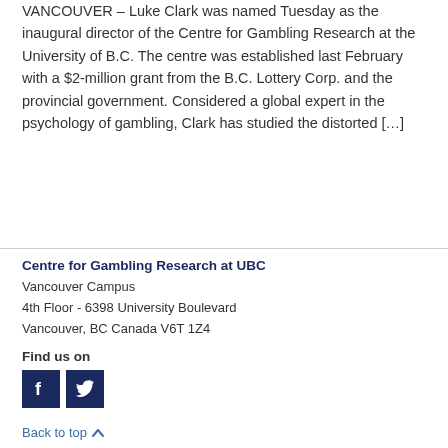VANCOUVER – Luke Clark was named Tuesday as the inaugural director of the Centre for Gambling Research at the University of B.C. The centre was established last February with a $2-million grant from the B.C. Lottery Corp. and the provincial government. Considered a global expert in the psychology of gambling, Clark has studied the distorted […]
Centre for Gambling Research at UBC
Vancouver Campus
4th Floor - 6398 University Boulevard
Vancouver, BC Canada V6T 1Z4
Find us on
Back to top